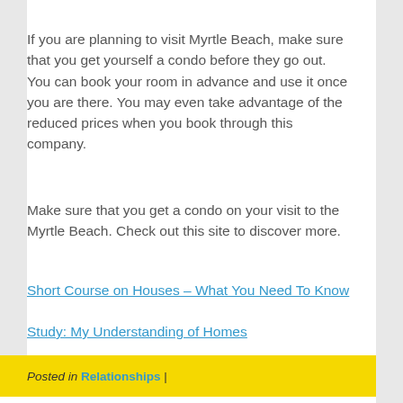If you are planning to visit Myrtle Beach, make sure that you get yourself a condo before they go out. You can book your room in advance and use it once you are there. You may even take advantage of the reduced prices when you book through this company.
Make sure that you get a condo on your visit to the Myrtle Beach. Check out this site to discover more.
Short Course on Houses – What You Need To Know
Study: My Understanding of Homes
Posted in Relationships |
What I Can Teach You About Services